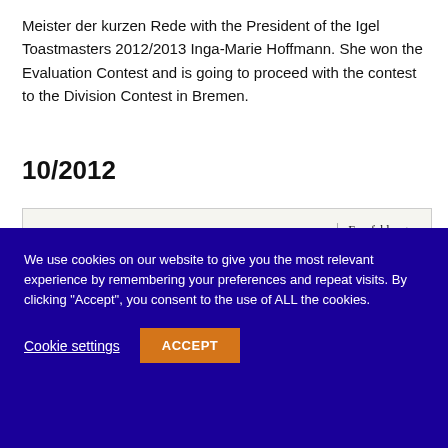Meister der kurzen Rede with the President of the Igel Toastmasters 2012/2013 Inga-Marie Hoffmann. She won the Evaluation Contest and is going to proceed with the contest to the Division Contest in Bremen.
10/2012
[Figure (screenshot): Newspaper or newsletter snippet showing the headline 'Märchen aus aller Herren Länder erzählen' and a sidebar label 'Empfehlungen']
We use cookies on our website to give you the most relevant experience by remembering your preferences and repeat visits. By clicking "Accept", you consent to the use of ALL the cookies.
Cookie settings    ACCEPT